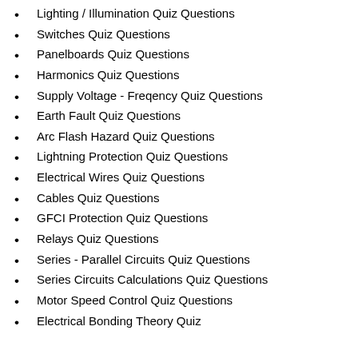Lighting / Illumination Quiz Questions
Switches Quiz Questions
Panelboards Quiz Questions
Harmonics Quiz Questions
Supply Voltage - Freqency Quiz Questions
Earth Fault Quiz Questions
Arc Flash Hazard Quiz Questions
Lightning Protection Quiz Questions
Electrical Wires Quiz Questions
Cables Quiz Questions
GFCI Protection Quiz Questions
Relays Quiz Questions
Series - Parallel Circuits Quiz Questions
Series Circuits Calculations Quiz Questions
Motor Speed Control Quiz Questions
Electrical Bonding Theory Quiz